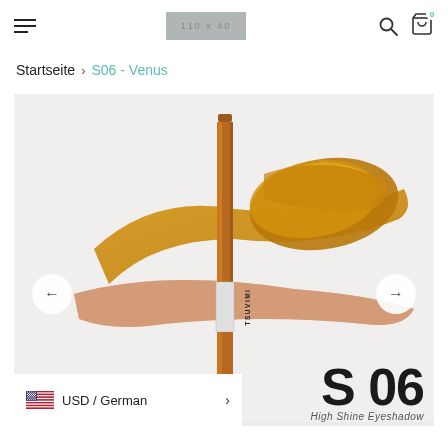Navigation header with hamburger menu, logo placeholder, search icon, and cart icon
Startseite > S06 - Venus
[Figure (photo): Product photo of a TSUVIMI gold/bronze high shine eyeshadow stick against a light grey background with gold metallic smear swatches. Navigation arrows on left and right sides.]
S 06
High Shine Eyeshadow
USD / German >